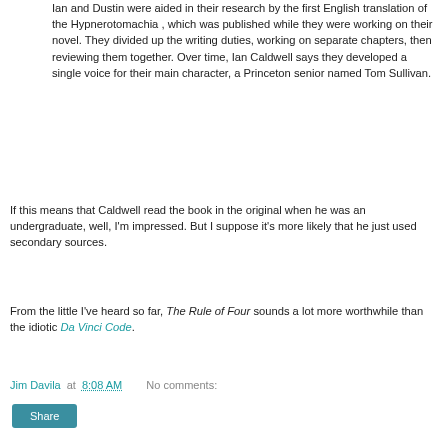Ian and Dustin were aided in their research by the first English translation of the Hypnerotomachia , which was published while they were working on their novel. They divided up the writing duties, working on separate chapters, then reviewing them together. Over time, Ian Caldwell says they developed a single voice for their main character, a Princeton senior named Tom Sullivan.
If this means that Caldwell read the book in the original when he was an undergraduate, well, I'm impressed. But I suppose it's more likely that he just used secondary sources.
From the little I've heard so far, The Rule of Four sounds a lot more worthwhile than the idiotic Da Vinci Code.
Jim Davila at 8:08 AM   No comments:
Share